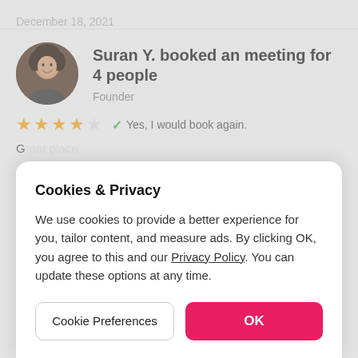December 18, 2021
Suran Y. booked an meeting for 4 people
Founder
★★★★☆  ✓ Yes, I would book again.
G...
Cookies & Privacy
We use cookies to provide a better experience for you, tailor content, and measure ads. By clicking OK, you agree to this and our Privacy Policy. You can update these options at any time.
Cookie Preferences
OK